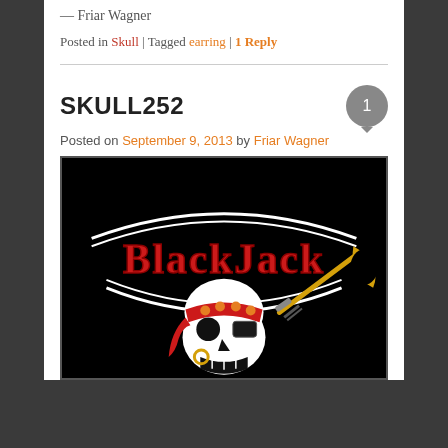— Friar Wagner
Posted in Skull | Tagged earring | 1 Reply
SKULL252
Posted on September 9, 2013 by Friar Wagner
[Figure (illustration): Black background image with 'BlackJack' in red Gothic lettering with white arc banners above and below text, and a pirate skull wearing a red polka-dot bandana, an eye patch, a gold earring, with a cutlass and gold crescent moon in background]